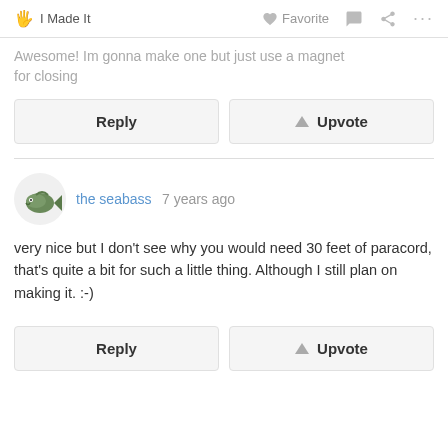I Made It  Favorite  ...
Awesome! Im gonna make one but just use a magnet for closing
Reply  Upvote
the seabass 7 years ago
very nice but I don't see why you would need 30 feet of paracord, that's quite a bit for such a little thing. Although I still plan on making it. :-)
Reply  Upvote